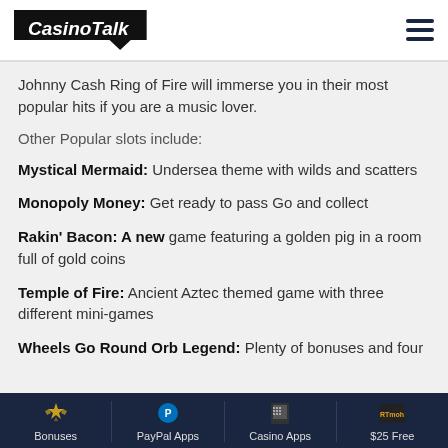CasinoTalk
Johnny Cash Ring of Fire will immerse you in their most popular hits if you are a music lover.
Other Popular slots include:
Mystical Mermaid: Undersea theme with wilds and scatters
Monopoly Money: Get ready to pass Go and collect
Rakin' Bacon: A new game featuring a golden pig in a room full of gold coins
Temple of Fire: Ancient Aztec themed game with three different mini-games
Wheels Go Round Orb Legend: Plenty of bonuses and four
Bonuses | PayPal Apps | Casino Apps | $25 Free